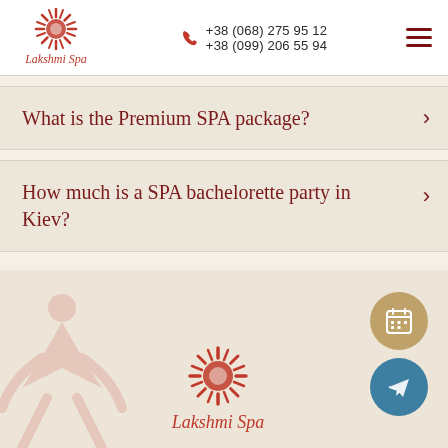Lakshmi Spa | +38 (068) 275 95 12 | +38 (099) 206 55 94
What is the Premium SPA package?
How much is a SPA bachelorette party in Kiev?
[Figure (logo): Lakshmi Spa logo — red spiky sun mandala with script text 'Lakshmi Spa' below, repeated in footer section]
[Figure (illustration): Decorative faint yoga silhouette in bottom-left footer area]
[Figure (infographic): Gold circular calendar/booking button and teal Telegram send button, floating on right side of footer]